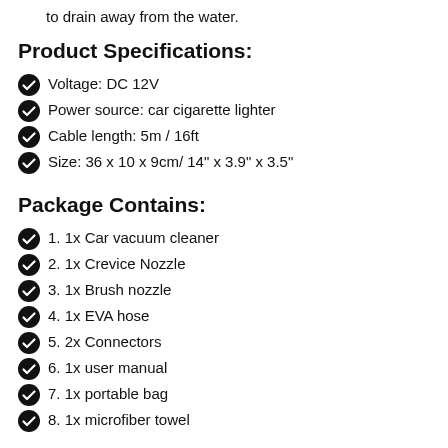to drain away from the water.
Product Specifications:
Voltage: DC 12V
Power source: car cigarette lighter
Cable length: 5m / 16ft
Size: 36 x 10 x 9cm/ 14" x 3.9" x 3.5"
Package Contains:
1. 1x Car vacuum cleaner
2. 1x Crevice Nozzle
3. 1x Brush nozzle
4. 1x EVA hose
5. 2x Connectors
6. 1x user manual
7. 1x portable bag
8. 1x microfiber towel